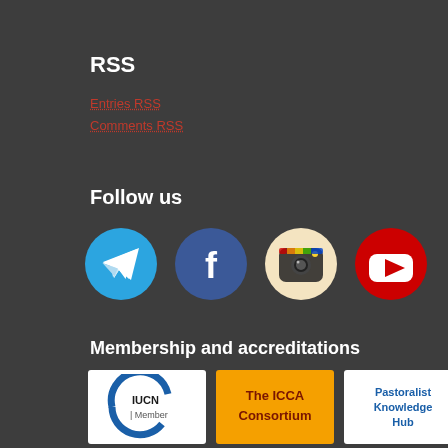RSS
Entries RSS
Comments RSS
Follow us
[Figure (illustration): Four social media icons in circles: Telegram (blue), Facebook (dark blue), Instagram (retro camera), YouTube (red)]
Membership and accreditations
[Figure (logo): IUCN Member logo - circular blue arrow design with IUCN Member text]
[Figure (logo): The ICCA Consortium logo on orange background]
[Figure (logo): Pastoralist Knowledge Hub logo on white background]
[Figure (logo): Ramsar Culture Network logo - partial view]
[Figure (logo): Green tree with waves logo - partial view]
[Figure (logo): drynet logo - partial view]